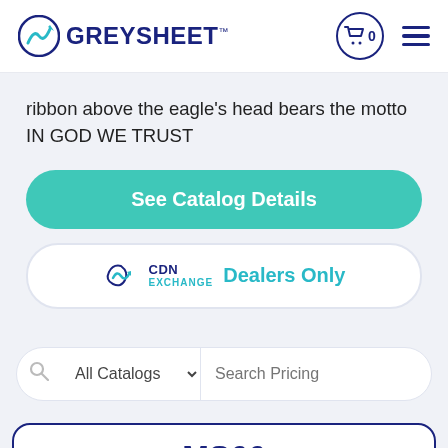GREYSHEET
ribbon above the eagle's head bears the motto IN GOD WE TRUST
See Catalog Details
CDN EXCHANGE Dealers Only
All Catalogs Search Pricing
MS66